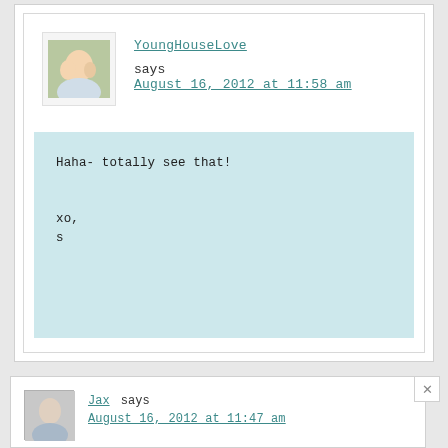YoungHouseLove says
August 16, 2012 at 11:58 am
Haha- totally see that!

xo,
s
Jax says
August 16, 2012 at 11:47 am